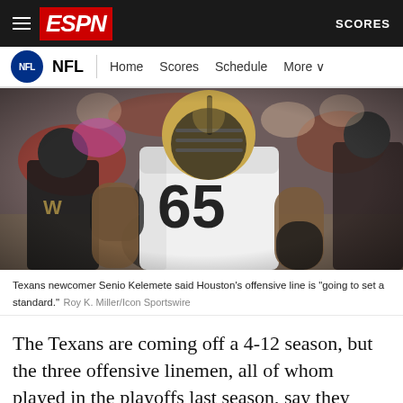ESPN — NFL — Home Scores Schedule More | SCORES
[Figure (photo): NFL player wearing New Orleans Saints #65 jersey (Senio Kelemete) in white uniform with gold helmet, tattooed arms, standing on field with crowd in background]
Texans newcomer Senio Kelemete said Houston's offensive line is "going to set a standard." Roy K. Miller/Icon Sportswire
The Texans are coming off a 4-12 season, but the three offensive linemen, all of whom played in the playoffs last season, say they believe Watson is good enough to turn it